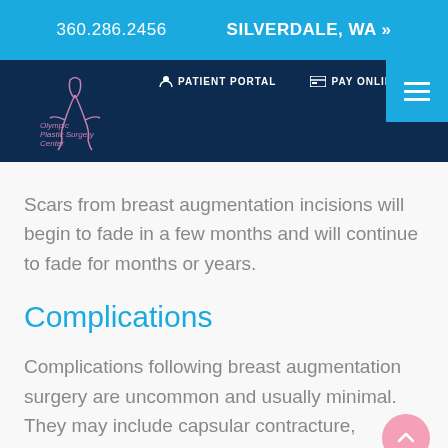360.286.2456   SILVERDALE, WA »
[Figure (logo): Olympic Plastic Surgery Center logo with stylized figure outline]
PATIENT PORTAL   PAY ONLINE
Scars from breast augmentation incisions will begin to fade in a few months and will continue to fade for months or years.
Complications
Complications following breast augmentation surgery are uncommon and usually minimal. They may include capsular contracture, swelling and pain, infection around